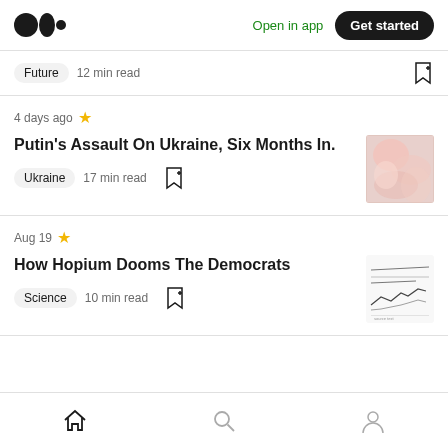Medium logo | Open in app | Get started
Future  12 min read
4 days ago ★ Putin's Assault On Ukraine, Six Months In. | Ukraine  17 min read
Aug 19 ★ How Hopium Dooms The Democrats | Science  10 min read
Home | Search | Profile